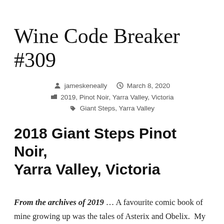Wine Code Breaker #309
jameskeneally   March 8, 2020   2019, Pinot Noir, Yarra Valley, Victoria   Giant Steps, Yarra Valley
2018 Giant Steps Pinot Noir, Yarra Valley, Victoria
From the archives of 2019 ... A favourite comic book of mine growing up was the tales of Asterix and Obelix.  My absolute favourite though